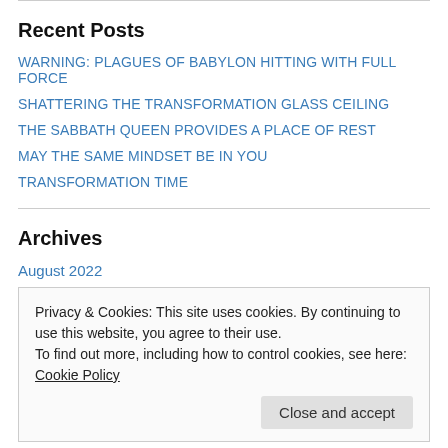Recent Posts
WARNING: PLAGUES OF BABYLON HITTING WITH FULL FORCE
SHATTERING THE TRANSFORMATION GLASS CEILING
THE SABBATH QUEEN PROVIDES A PLACE OF REST
MAY THE SAME MINDSET BE IN YOU
TRANSFORMATION TIME
Archives
August 2022
Privacy & Cookies: This site uses cookies. By continuing to use this website, you agree to their use.
To find out more, including how to control cookies, see here: Cookie Policy
December 2021